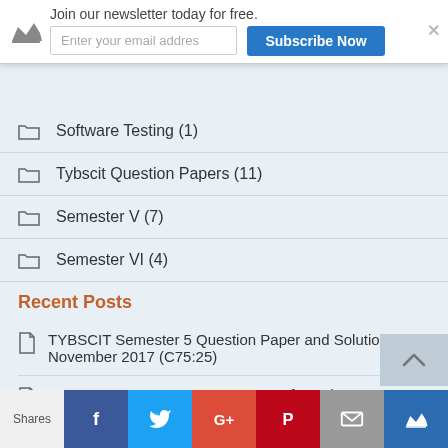[Figure (screenshot): Newsletter signup banner with crown icon, email input field, Subscribe Now button, and close X]
Software Testing (1)
Tybscit Question Papers (11)
Semester V (7)
Semester VI (4)
Recent Posts
TYBSCIT Semester 5 Question Paper and Solution November 2017 (C75:25)
TYBSCIT Semester 5 Exam Dates of October 2017 CBSGS 75:25 Postponed
Tybscit Semester 5 Question Paper & Solutions November 2016 (75:25)
[Figure (screenshot): Social share bar with Shares label, Facebook, Twitter, Google+, Pinterest, Email, and crown buttons]